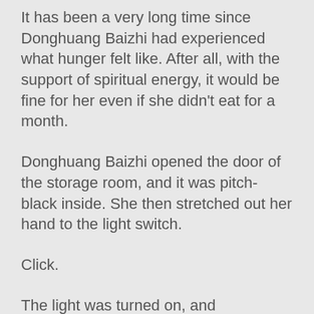It has been a very long time since Donghuang Baizhi had experienced what hunger felt like. After all, with the support of spiritual energy, it would be fine for her even if she didn't eat for a month.
Donghuang Baizhi opened the door of the storage room, and it was pitch-black inside. She then stretched out her hand to the light switch.
Click.
The light was turned on, and Donghuang Baizhi immediately became exulted. In front of her, there were a few boxes of instant cup noodles.